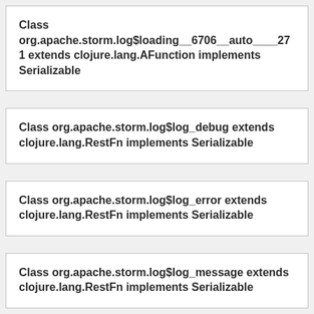Class org.apache.storm.log$loading__6706__auto____271 extends clojure.lang.AFunction implements Serializable
Class org.apache.storm.log$log_debug extends clojure.lang.RestFn implements Serializable
Class org.apache.storm.log$log_error extends clojure.lang.RestFn implements Serializable
Class org.apache.storm.log$log_message extends clojure.lang.RestFn implements Serializable